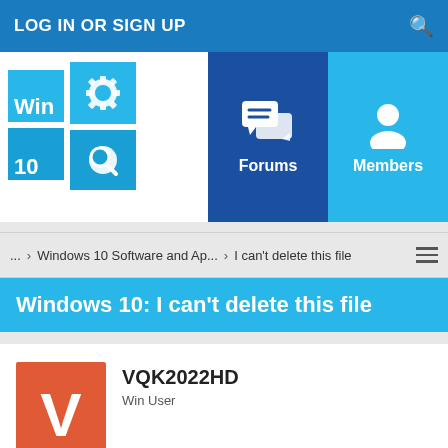LOG IN OR SIGN UP
[Figure (logo): Windows 10 logo with gear and search icons, text 'Win 10']
[Figure (illustration): Forums button - dark blue tile with chat bubble icons and text 'Forums']
[Figure (illustration): Members button - light blue tile with person icon and text 'Members']
... > Windows 10 Software and Ap... > I can't delete this file
Windows 10: I can't delete this file
VQK2022HD
Win User